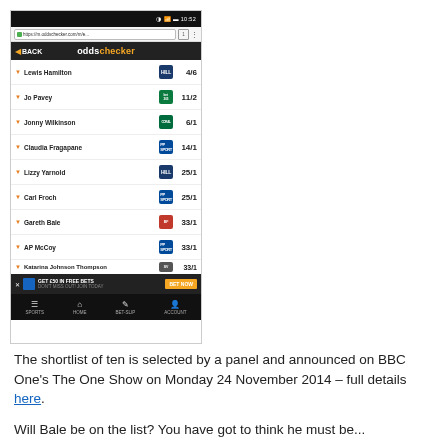[Figure (screenshot): Mobile screenshot of oddschecker.com showing betting odds for BBC Sports Personality of the Year. Lewis Hamilton 4/6, Jo Pavey 11/2, Jonny Wilkinson 6/1, Claudia Fragapane 14/1, Lizzy Yarnold 25/1, Carl Froch 25/1, Gareth Bale 33/1, AP McCoy 33/1, Katarina Johnson Thompson 33/1]
The shortlist of ten is selected by a panel and announced on BBC One's The One Show on Monday 24 November 2014 – full details here.
Will Bale be on the list? You have got to think he must be...